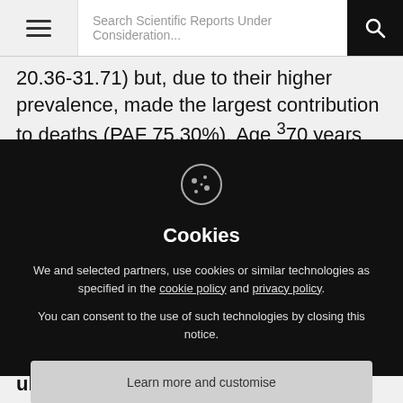Search Scientific Reports Under Consideration...
20.36-31.71) but, due to their higher prevalence, made the largest contribution to deaths (PAF 75.30%). Age ³70 years accounted for 49.55% of deaths. In conclusion,
[Figure (screenshot): Cookie consent overlay on Scientific Reports Under Consideration website. Contains a cookie icon, title 'Cookies', body text about cookie policy and privacy policy links, a 'Learn more and customise' button, and an 'Accept All' button.]
evaluated, nor has a decision on ultimate publication